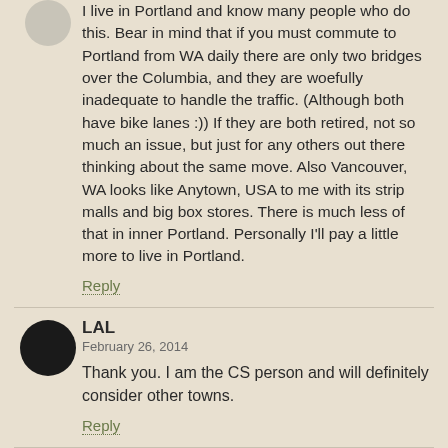I live in Portland and know many people who do this. Bear in mind that if you must commute to Portland from WA daily there are only two bridges over the Columbia, and they are woefully inadequate to handle the traffic. (Although both have bike lanes :)) If they are both retired, not so much an issue, but just for any others out there thinking about the same move. Also Vancouver, WA looks like Anytown, USA to me with its strip malls and big box stores. There is much less of that in inner Portland. Personally I'll pay a little more to live in Portland.
Reply
LAL
February 26, 2014
Thank you. I am the CS person and will definitely consider other towns.
Reply
Jeff
February 23, 2014
Is there something particular about the actual employer...